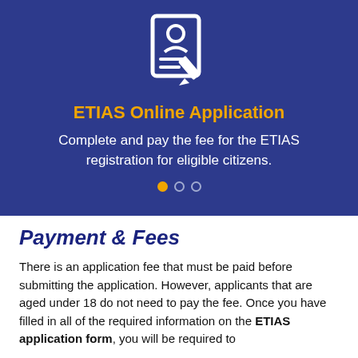[Figure (illustration): White icon of a person with a document/form and a pencil on a dark blue background]
ETIAS Online Application
Complete and pay the fee for the ETIAS registration for eligible citizens.
Payment & Fees
There is an application fee that must be paid before submitting the application. However, applicants that are aged under 18 do not need to pay the fee. Once you have filled in all of the required information on the ETIAS application form, you will be required to